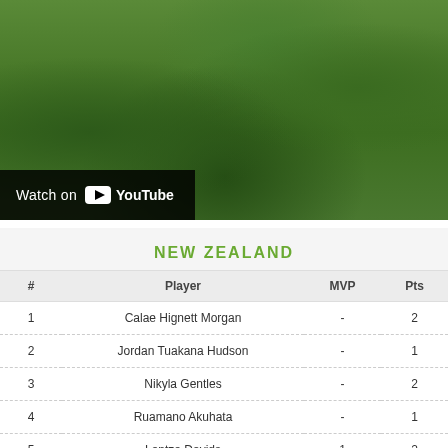[Figure (screenshot): YouTube video thumbnail showing a grass field with 'Watch on YouTube' overlay bar at the bottom left]
NEW ZEALAND
| # | Player | MVP | Pts |
| --- | --- | --- | --- |
| 1 | Calae Hignett Morgan | - | 2 |
| 2 | Jordan Tuakana Hudson | - | 1 |
| 3 | Nikyla Gentles | - | 2 |
| 4 | Ruamano Akuhata | - | 1 |
| 5 | Lantze Davids | 1 | 2 |
| 6 | Alex Cassidy | - | 2 |